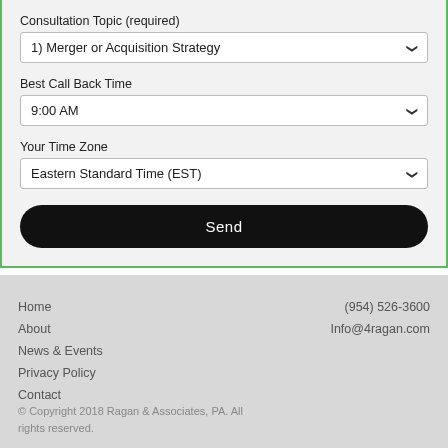Consultation Topic (required)
1) Merger or Acquisition Strategy
Best Call Back Time
9:00 AM
Your Time Zone
Eastern Standard Time (EST)
Send
Home
About
News & Events
Privacy Policy
Contact
(954) 526-3600
Info@4ragan.com
© Copyright 2018 Ragan & Associates, PA. All rights reserved.